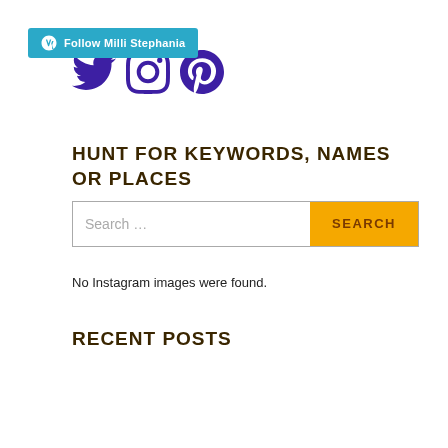[Figure (logo): WordPress Follow button: cyan/teal button with WordPress W icon and text 'Follow Milli Stephania']
[Figure (infographic): Three social media icons in purple/dark blue: Twitter bird, Instagram camera circle, Pinterest P]
HUNT FOR KEYWORDS, NAMES OR PLACES
[Figure (other): Search bar with placeholder 'Search ...' and orange SEARCH button]
No Instagram images were found.
RECENT POSTS